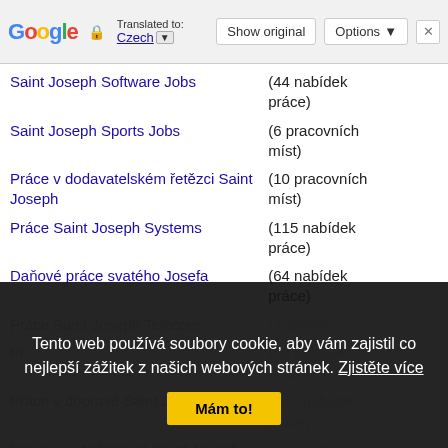Google Translated to: Czech | Show original | Options | X
Saint Joseph Software Jobs | (44 nabídek práce)
Saint Joseph Sports Jobs | (6 pracovních míst)
Práce v dodavatelském řetězci Saint Joseph | (10 pracovních míst)
Práce Saint Joseph Systems | (115 nabídek práce)
Daňové práce svatého Josefa | (64 nabídek práce)
Práce Saint Joseph Telecom | (1 práce)
Práce Saint Joseph ... | (59 nabídek práce)
Práce v dopravě Saint Joseph | (147 nabídek práce)
Práce v autodopravě Saint Joseph | (155 nabídek práce)
Práce ve skladu Saint Joseph | (105 pracovních míst)
Tento web používá soubory cookie, aby vám zajistil co nejlepší zážitek z našich webových stránek. Zjistěte více
Mám to!